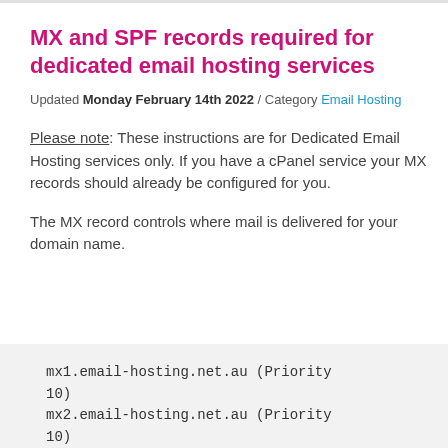MX and SPF records required for dedicated email hosting services
Updated Monday February 14th 2022 / Category Email Hosting
Please note: These instructions are for Dedicated Email Hosting services only. If you have a cPanel service your MX records should already be configured for you.
The MX record controls where mail is delivered for your domain name.
mx1.email-hosting.net.au (Priority 10)
mx2.email-hosting.net.au (Priority 10)